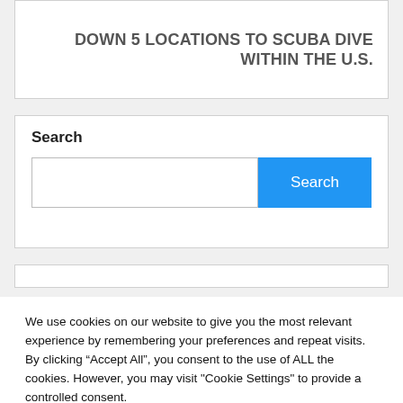DOWN 5 LOCATIONS TO SCUBA DIVE WITHIN THE U.S.
Search
We use cookies on our website to give you the most relevant experience by remembering your preferences and repeat visits. By clicking “Accept All”, you consent to the use of ALL the cookies. However, you may visit "Cookie Settings" to provide a controlled consent.
Cookie Settings | Accept All